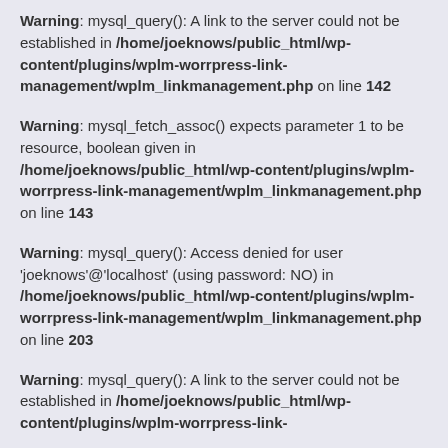Warning: mysql_query(): A link to the server could not be established in /home/joeknows/public_html/wp-content/plugins/wplm-worrpress-link-management/wplm_linkmanagement.php on line 142
Warning: mysql_fetch_assoc() expects parameter 1 to be resource, boolean given in /home/joeknows/public_html/wp-content/plugins/wplm-worrpress-link-management/wplm_linkmanagement.php on line 143
Warning: mysql_query(): Access denied for user 'joeknows'@'localhost' (using password: NO) in /home/joeknows/public_html/wp-content/plugins/wplm-worrpress-link-management/wplm_linkmanagement.php on line 203
Warning: mysql_query(): A link to the server could not be established in /home/joeknows/public_html/wp-content/plugins/wplm-worrpress-link-